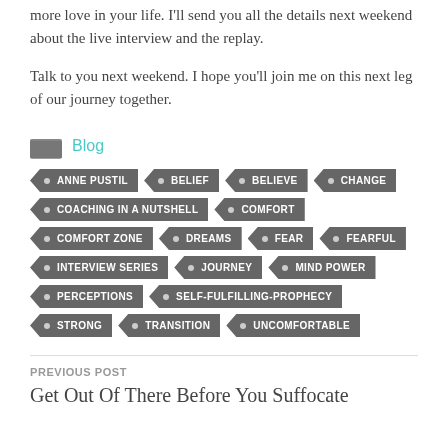more love in your life. I'll send you all the details next weekend about the live interview and the replay.
Talk to you next weekend. I hope you'll join me on this next leg of our journey together.
Blog
ANNE PUSTIL
BELIEF
BELIEVE
CHANGE
COACHING IN A NUTSHELL
COMFORT
COMFORT ZONE
DREAMS
FEAR
FEARFUL
INTERVIEW SERIES
JOURNEY
MIND POWER
PERCEPTIONS
SELF-FULFILLING-PROPHECY
STRONG
TRANSITION
UNCOMFORTABLE
PREVIOUS POST
Get Out Of There Before You Suffocate